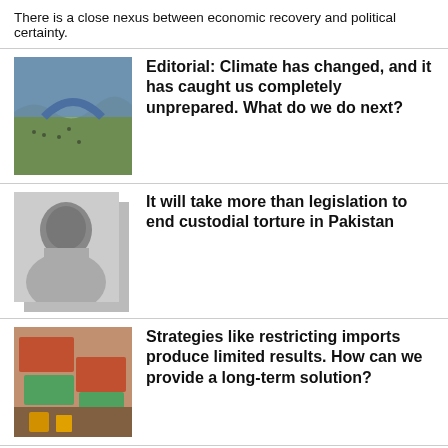There is a close nexus between economic recovery and political certainty.
[Figure (photo): Aerial view of flooded river area with people gathered along banks]
Editorial: Climate has changed, and it has caught us completely unprepared. What do we do next?
[Figure (photo): Black and white portrait photo of a woman]
It will take more than legislation to end custodial torture in Pakistan
[Figure (photo): Shipping containers being loaded or stacked at a port]
Strategies like restricting imports produce limited results. How can we provide a long-term solution?
[Figure (photo): Infographic with gears and industrial machinery icons]
Why a strong local government is crucial for sustainable industrialisation